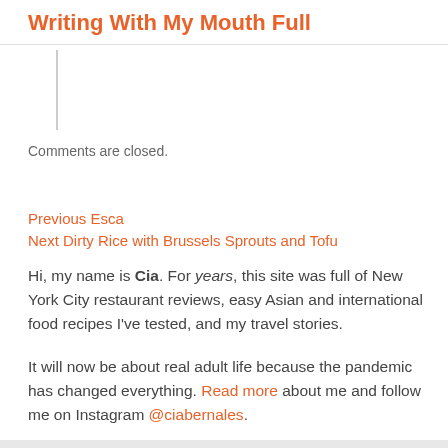Writing With My Mouth Full
Comments are closed.
Previous Esca
Next Dirty Rice with Brussels Sprouts and Tofu
Hi, my name is Cia. For years, this site was full of New York City restaurant reviews, easy Asian and international food recipes I've tested, and my travel stories.
It will now be about real adult life because the pandemic has changed everything. Read more about me and follow me on Instagram @ciabernales.